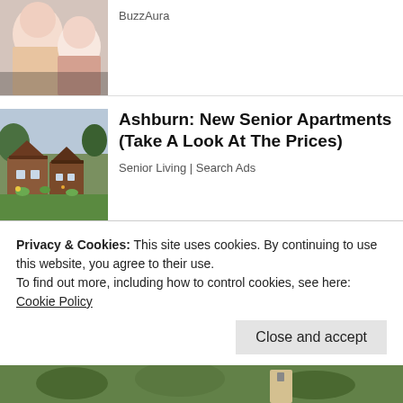[Figure (photo): Partial photo of two people, top ad item]
BuzzAura
[Figure (photo): Photo of wooden cabin-style senior apartment buildings with walkway and garden]
Ashburn: New Senior Apartments (Take A Look At The Prices)
Senior Living | Search Ads
[Figure (photo): Large photo of a beige/tan sided house exterior with windows and trees]
Privacy & Cookies: This site uses cookies. By continuing to use this website, you agree to their use.
To find out more, including how to control cookies, see here: Cookie Policy
Close and accept
[Figure (photo): Partial bottom strip photo, greenery visible]